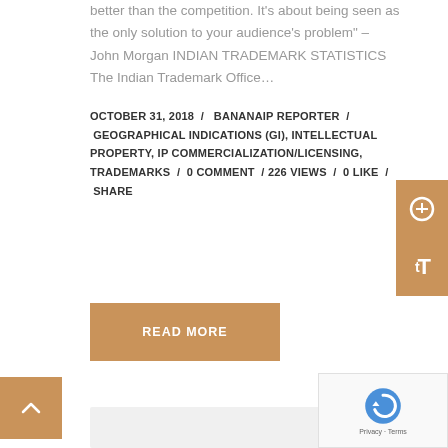better than the competition. It’s about being seen as the only solution to your audience’s problem” – John Morgan INDIAN TRADEMARK STATISTICS The Indian Trademark Office…
OCTOBER 31, 2018 / BANANAIP REPORTER / GEOGRAPHICAL INDICATIONS (GI), INTELLECTUAL PROPERTY, IP COMMERCIALIZATION/LICENSING, TRADEMARKS / 0 COMMENT / 226 VIEWS / 0 LIKE / SHARE
READ MORE